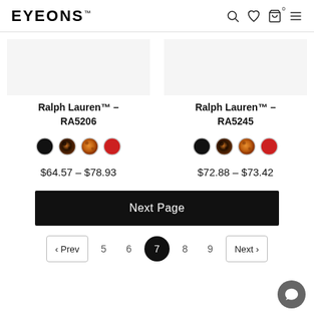EYEONS™
Ralph Lauren™ – RA5206
$64.57 – $78.93
Ralph Lauren™ – RA5245
$72.88 – $73.42
Next Page
‹ Prev  5  6  7  8  9  Next ›